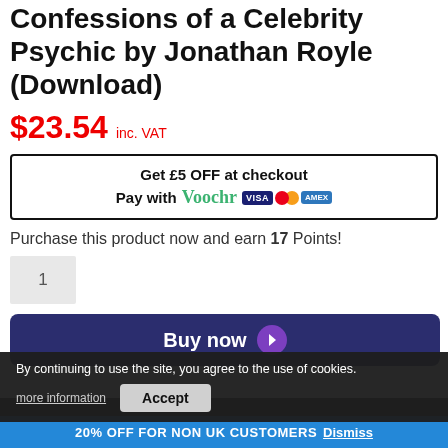Confessions of a Celebrity Psychic by Jonathan Royle (Download)
$23.54 inc. VAT
Get £5 OFF at checkout
Pay with Voochr [VISA] [MC] [AMEX]
Purchase this product now and earn 17 Points!
1
Buy now
By continuing to use the site, you agree to the use of cookies.
more information
Accept
20% OFF FOR NON UK CUSTOMERS Dismiss